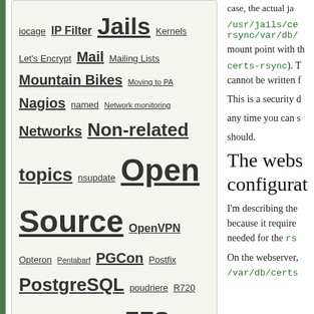iocage IP Filter Jails Kernels Let's Encrypt Mail Mailing Lists Mountain Bikes Moving to PA Nagios named Network monitoring Networks Non-related topics nsupdate Open Source OpenVPN Opteron Pentabarf PGCon Postfix PostgreSQL poudriere R720 Security ssh WordPress ZFS
Recent Comments
Race Boyer on Converting an iocage jail to a vanilla jail
Dan Langille on Converting an iocage jail to a vanilla jail
Race Boyer on Converting an iocage jail to a vanilla jail
Michael Hurley on Eaton ePDU Auth Algorithm & Crypto Algorithm for SNMPv3 Configuration
case, the actual ja
/usr/jails/ce rsync/var/db/ mount point with th certs-rsync). T cannot be written t This is a security a any time you can s should.
The webs configurat
I'm describing the because it require needed for the rs
On the webserver, /var/db/certs